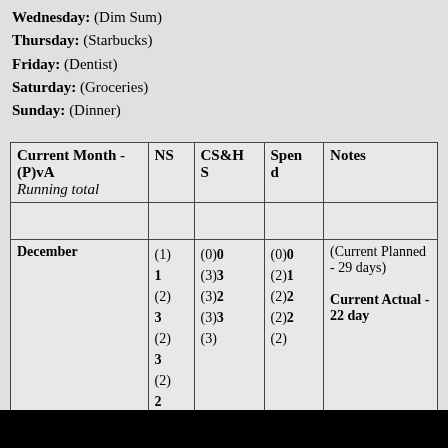Wednesday: (Dim Sum)
Thursday: (Starbucks)
Friday: (Dentist)
Saturday: (Groceries)
Sunday: (Dinner)
| Current Month - (P)vA
Running total | NS | CS&HS | Spend | Notes |
| --- | --- | --- | --- | --- |
|  |  |  |  |  |
| December | (1)
1
(2)
3
(2)
3
(2)
2
(2) | (0)0
(3)3
(3)2
(3)3
(3) | (0)0
(2)1
(2)2
(2)2
(2) | (Current Planned - 29 days)

Current Actual - 22 day |